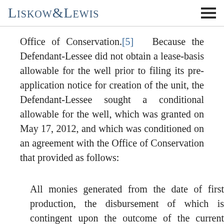Liskow&Lewis
Office of Conservation.[5]  Because the Defendant-Lessee did not obtain a lease-basis allowable for the well prior to filing its pre-application notice for creation of the unit, the Defendant-Lessee sought a conditional allowable for the well, which was granted on May 17, 2012, and which was conditioned on an agreement with the Office of Conservation that provided as follows:
All monies generated from the date of first production, the disbursement of which is contingent upon the outcome of the current proceedings before the